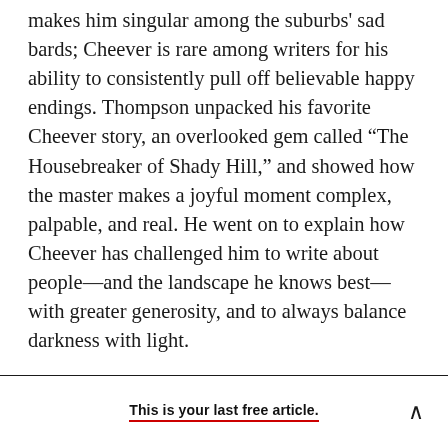makes him singular among the suburbs' sad bards; Cheever is rare among writers for his ability to consistently pull off believable happy endings. Thompson unpacked his favorite Cheever story, an overlooked gem called “The Housebreaker of Shady Hill,” and showed how the master makes a joyful moment complex, palpable, and real. He went on to explain how Cheever has challenged him to write about people—and the landscape he knows best—with greater generosity, and to always balance darkness with light.
This is your last free article.